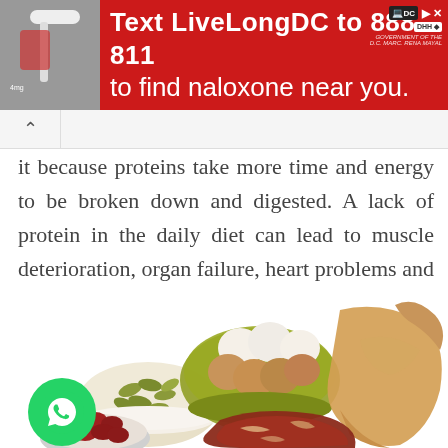[Figure (infographic): Red advertisement banner: Text LiveLongDC to 888-811 to find naloxone near you. Includes a photo of a naloxone syringe, DC government logos.]
it because proteins take more time and energy to be broken down and digested. A lack of protein in the daily diet can lead to muscle deterioration, organ failure, heart problems and arthritis along with muscles soreness and cramps.
[Figure (photo): Collage of protein food sources: a bowl of eggs (white and brown), a whole raw chicken, a bowl of pumpkin seeds/almonds, red beans, and a raw steak/meat. Also visible: a green WhatsApp share button.]